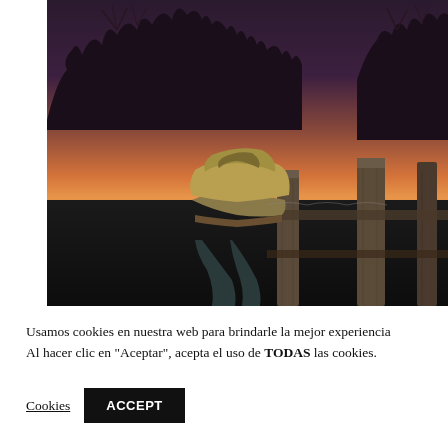[Figure (photo): A person bending over a wooden fence post at dusk/sunset. The sky shows warm orange and pink tones. Bare trees are visible in the background. The person is wearing a tan/yellow hooded jacket and dark trousers.]
Usamos cookies en nuestra web para brindarle la mejor experiencia Al hacer clic en "Aceptar", acepta el uso de TODAS las cookies.
Cookies   ACCEPT